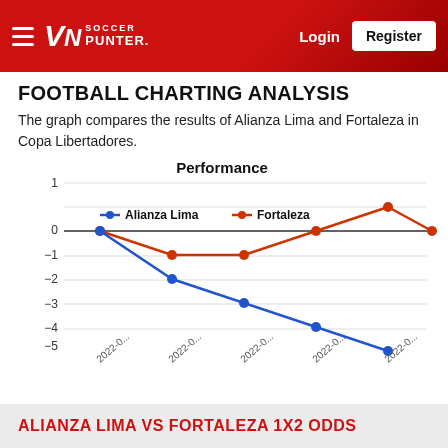Soccer Punter — Login | Register
FOOTBALL CHARTING ANALYSIS
The graph compares the results of Alianza Lima and Fortaleza in Copa Libertadores.
[Figure (line-chart): Performance]
ALIANZA LIMA VS FORTALEZA 1X2 ODDS